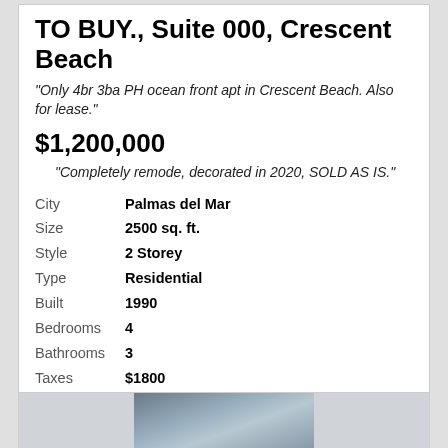TO BUY., Suite 000, Crescent Beach
"Only 4br 3ba PH ocean front apt in Crescent Beach. Also for lease."
$1,200,000
"Completely remode, decorated in 2020, SOLD AS IS."
City  Palmas del Mar
Size  2500 sq. ft.
Style  2 Storey
Type  Residential
Built  1990
Bedrooms  4
Bathrooms  3
Taxes  $1800
Condo Fee  $372
Request More Info
[Figure (photo): Partial photo of a property interior or exterior, showing blue/grey tones]